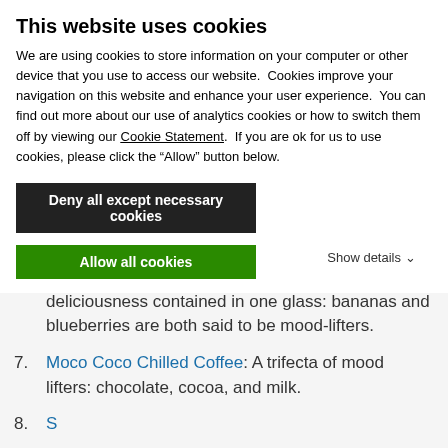This website uses cookies
We are using cookies to store information on your computer or other device that you use to access our website.  Cookies improve your navigation on this website and enhance your user experience.  You can find out more about our use of analytics cookies or how to switch them off by viewing our Cookie Statement.  If you are ok for us to use cookies, please click the “Allow” button below.
Deny all except necessary cookies
Allow all cookies
Show details
6. Banana Blueberry Orange Smoothie: So much deliciousness contained in one glass: bananas and blueberries are both said to be mood-lifters.
7. Moco Coco Chilled Coffee: A trifecta of mood lifters: chocolate, cocoa, and milk.
8. (partially visible)